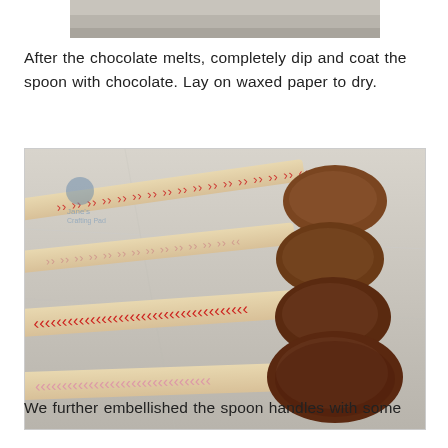[Figure (photo): Partial photo visible at top of page, appears to be a cropped portion of a similar image to the main photo below.]
After the chocolate melts, completely dip and coat the spoon with chocolate. Lay on waxed paper to dry.
[Figure (photo): Four chocolate-dipped wooden spoons lying on waxed paper. The spoon heads are fully coated in dark milk chocolate. The handles are decorated with red and pink chevron/zig-zag patterns. The spoons are arranged from top-left to bottom-right diagonally.]
We further embellished the spoon handles with some